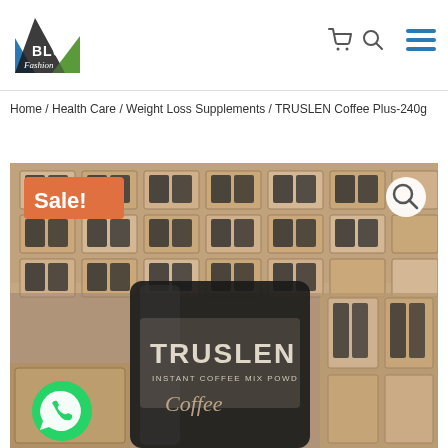[Figure (logo): BLU Fashion logo with triangle shapes in blue, green and dark colors]
Home / Health Care / Weight Loss Supplements / TRUSLEN Coffee Plus-240g
[Figure (photo): Product photo showing TRUSLEN Instant Coffee Mix Powder packages arranged in cardboard boxes, with Sale! badge in orange top-left and search icon top-right, WhatsApp button bottom-left]